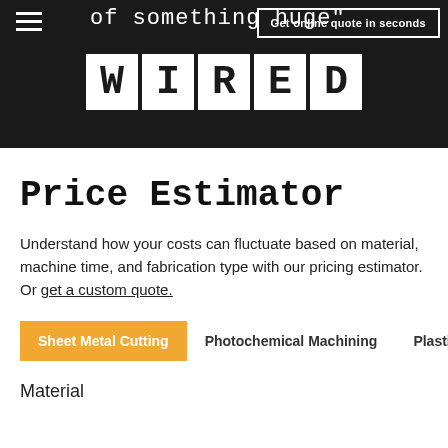of something huge"
[Figure (logo): WIRED magazine logo in white on black background, monospaced letters in individual white boxes]
Price Estimator
Understand how your costs can fluctuate based on material, machine time, and fabrication type with our pricing estimator. Or get a custom quote.
Sheet Metal Cutting
Photochemical Machining
Plastic Laser
Material